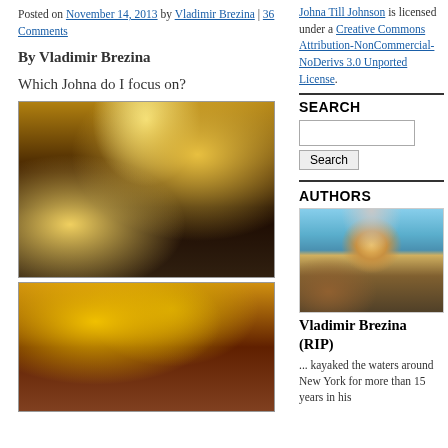Posted on November 14, 2013 by Vladimir Brezina | 36 Comments
By Vladimir Brezina
Which Johna do I focus on?
[Figure (photo): Photo of woman smiling in ornate gold hallway with chandelier, photographer visible in mirror reflection]
[Figure (photo): Close-up photo of ornate gold chandelier in decorative hallway]
Johna Till Johnson is licensed under a Creative Commons Attribution-NonCommercial-NoDerivs 3.0 Unported License.
SEARCH
[Figure (other): Search input box and Search button]
AUTHORS
[Figure (photo): Photo of Vladimir Brezina in kayaking gear on water]
Vladimir Brezina (RIP)
... kayaked the waters around New York for more than 15 years in his